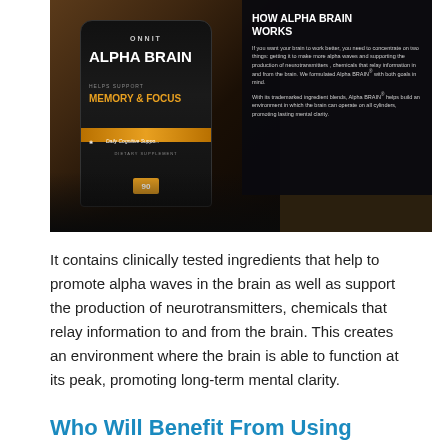[Figure (photo): Product photo of Onnit Alpha Brain supplement bottle (Memory & Focus, Daily Cognitive Support, Dietary Supplement, 90 count) lying on a wooden surface, with a dark overlay panel on the right showing 'HOW ALPHA BRAIN WORKS' text explaining alpha waves and neurotransmitter production.]
It contains clinically tested ingredients that help to promote alpha waves in the brain as well as support the production of neurotransmitters, chemicals that relay information to and from the brain. This creates an environment where the brain is able to function at its peak, promoting long-term mental clarity.
Who Will Benefit From Using Onnit Alpha Brain?